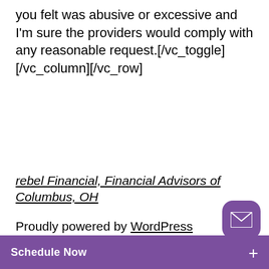you felt was abusive or excessive and I'm sure the providers would comply with any reasonable request.[/vc_toggle][/vc_column][/vc_row]
rebel Financial, Financial Advisors of Columbus, OH
Proudly powered by WordPress
Schedule Now +